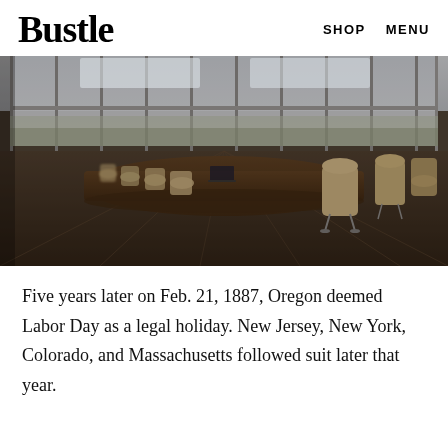Bustle  SHOP  MENU
[Figure (photo): Conference room with a long wooden table surrounded by tan executive chairs, floor-to-ceiling windows overlooking a landscape, dark wood floor, overhead lighting.]
Five years later on Feb. 21, 1887, Oregon deemed Labor Day as a legal holiday. New Jersey, New York, Colorado, and Massachusetts followed suit later that year.